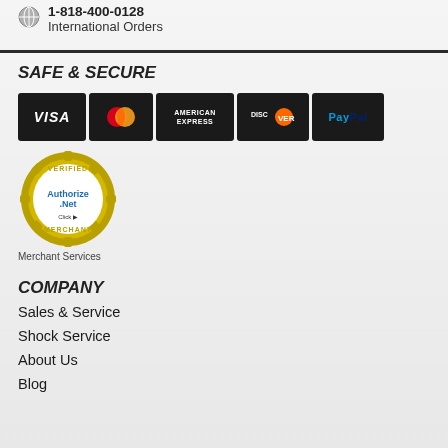International Orders
SAFE & SECURE
[Figure (logo): Payment method badges: VISA, MasterCard, American Express, Discover, PayPal]
[Figure (logo): Authorize.Net Verified Merchant seal badge]
Merchant Services
COMPANY
Sales & Service
Shock Service
About Us
Blog